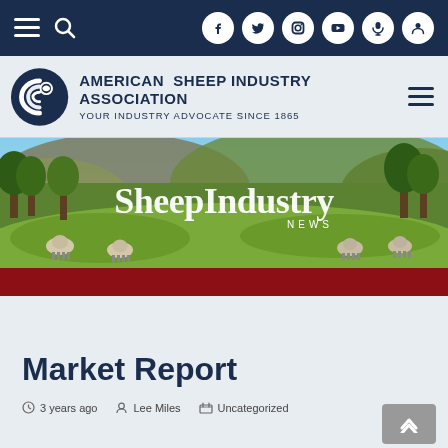Navigation bar with hamburger menu, search icon, and social media icons (Facebook, Twitter, Instagram, YouTube, Microphone, User)
[Figure (logo): American Sheep Industry Association logo with circular sheep icon, text: AMERICAN SHEEP INDUSTRY ASSOCIATION, YOUR INDUSTRY ADVOCATE SINCE 1865]
[Figure (photo): Banner image showing sheep grazing on green hills with trees and mountains in the background, overlaid with text 'SheepIndustry NEWS']
Market Report
3 years ago   Lee Miles   Uncategorized